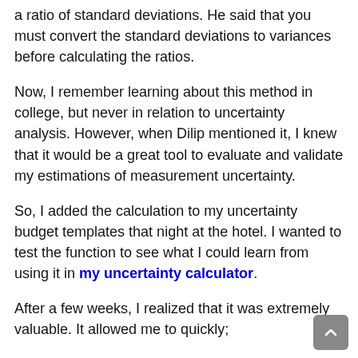a ratio of standard deviations. He said that you must convert the standard deviations to variances before calculating the ratios.
Now, I remember learning about this method in college, but never in relation to uncertainty analysis. However, when Dilip mentioned it, I knew that it would be a great tool to evaluate and validate my estimations of measurement uncertainty.
So, I added the calculation to my uncertainty budget templates that night at the hotel. I wanted to test the function to see what I could learn from using it in my uncertainty calculator.
After a few weeks, I realized that it was extremely valuable. It allowed me to quickly;
• find significant contributors,
• find negligible contributors,
• evaluate my results, and